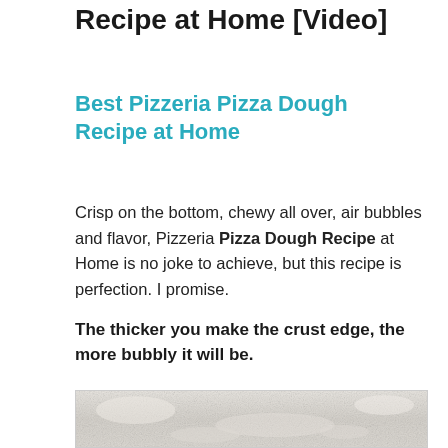Recipe at Home [Video]
Best Pizzeria Pizza Dough Recipe at Home
Crisp on the bottom, chewy all over, air bubbles and flavor, Pizzeria Pizza Dough Recipe at Home is no joke to achieve, but this recipe is perfection. I promise.
The thicker you make the crust edge, the more bubbly it will be.
[Figure (photo): Close-up photo of flour or dough surface, light beige/white texture]